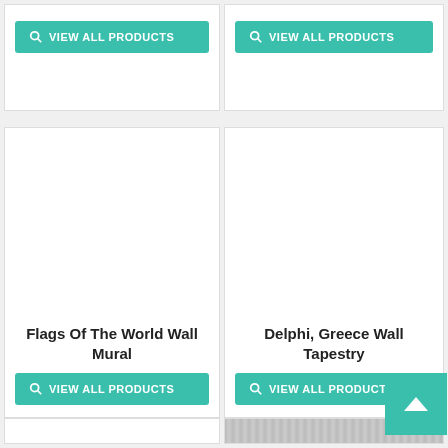[Figure (screenshot): Top-left card with teal VIEW ALL PRODUCTS button]
[Figure (screenshot): Top-right card with teal VIEW ALL PRODUCTS button]
Flags Of The World Wall Mural
[Figure (screenshot): Middle-left product card for Flags Of The World Wall Mural with VIEW ALL PRODUCTS button]
Delphi, Greece Wall Tapestry
[Figure (screenshot): Middle-right product card for Delphi, Greece Wall Tapestry with VIEW ALL PRODUCTS button and back-to-top arrow]
[Figure (screenshot): Partial bottom-left card (white, empty)]
[Figure (screenshot): Partial bottom-right card (light gray, partial image visible)]